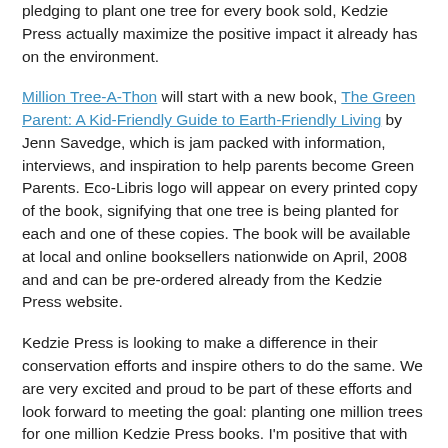(…) pledging to plant one tree for every book sold, Kedzie Press actually maximize the positive impact it already has on the environment.
Million Tree-A-Thon will start with a new book, The Green Parent: A Kid-Friendly Guide to Earth-Friendly Living by Jenn Savedge, which is jam packed with information, interviews, and inspiration to help parents become Green Parents. Eco-Libris logo will appear on every printed copy of the book, signifying that one tree is being planted for each and one of these copies. The book will be available at local and online booksellers nationwide on April, 2008 and and can be pre-ordered already from the Kedzie Press website.
Kedzie Press is looking to make a difference in their conservation efforts and inspire others to do the same. We are very excited and proud to be part of these efforts and look forward to meeting the goal: planting one million trees for one million Kedzie Press books. I'm positive that with the support of all the eco-conscious readers out there we can do it!